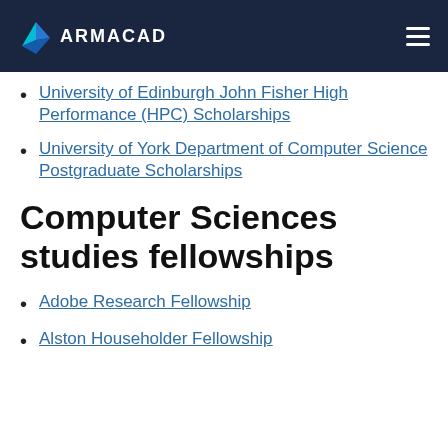ARMACAD
University of Edinburgh John Fisher High Performance (HPC) Scholarships
University of York Department of Computer Science Postgraduate Scholarships
Computer Sciences studies fellowships
Adobe Research Fellowship
Alston Householder Fellowship